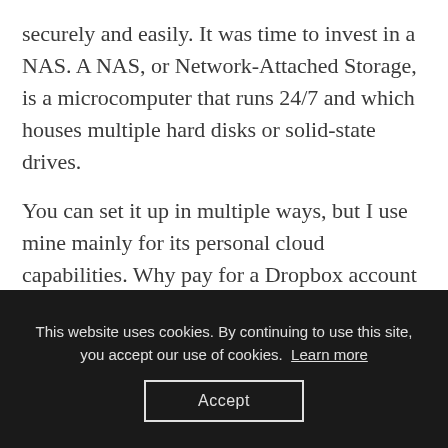securely and easily. It was time to invest in a NAS. A NAS, or Network-Attached Storage, is a microcomputer that runs 24/7 and which houses multiple hard disks or solid-state drives.
You can set it up in multiple ways, but I use mine mainly for its personal cloud capabilities. Why pay for a Dropbox account when you can have your own system sitting at home? A good NAS is easy to set up and very stable. I picked a Synology NAS because it's
This website uses cookies. By continuing to use this site, you accept our use of cookies. Learn more
Accept